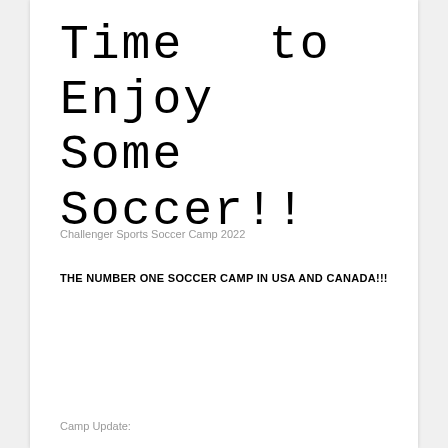Time to Enjoy Some Soccer!!
Challenger Sports Soccer Camp 2022
THE NUMBER ONE SOCCER CAMP IN USA AND CANADA!!!
Camp Update: